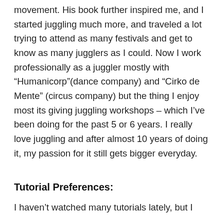movement. His book further inspired me, and I started juggling much more, and traveled a lot trying to attend as many festivals and get to know as many jugglers as I could. Now I work professionally as a juggler mostly with “Humanicorp”(dance company) and “Cirko de Mente” (circus company) but the thing I enjoy most its giving juggling workshops – which I’ve been doing for the past 5 or 6 years. I really love juggling and after almost 10 years of doing it, my passion for it still gets bigger everyday.
Tutorial Preferences:
I haven’t watched many tutorials lately, but I